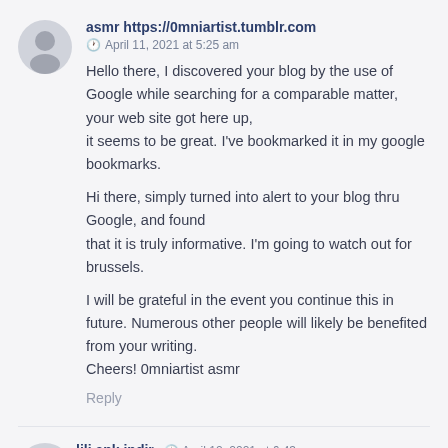asmr https://0mniartist.tumblr.com
April 11, 2021 at 5:25 am
Hello there, I discovered your blog by the use of Google while searching for a comparable matter, your web site got here up,
it seems to be great. I've bookmarked it in my google bookmarks.

Hi there, simply turned into alert to your blog thru Google, and found
that it is truly informative. I'm going to watch out for brussels.

I will be grateful in the event you continue this in future. Numerous other people will likely be benefited from your writing.
Cheers! 0mniartist asmr
Reply
lili apk indir
April 12, 2021 at 6:43 am
Hello! I could have sworn I've visited this blog before but after going through many of